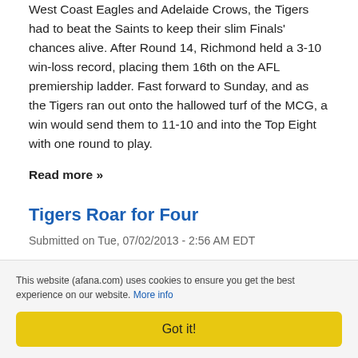West Coast Eagles and Adelaide Crows, the Tigers had to beat the Saints to keep their slim Finals' chances alive. After Round 14, Richmond held a 3-10 win-loss record, placing them 16th on the AFL premiership ladder. Fast forward to Sunday, and as the Tigers ran out onto the hallowed turf of the MCG, a win would send them to 11-10 and into the Top Eight with one round to play.
Read more »
Tigers Roar for Four
Submitted on Tue, 07/02/2013 - 2:56 AM EDT
Brook "Boris" Kilpatrick reporting for AFANA
The Sunday special this week belonged to Richmond and St
This website (afana.com) uses cookies to ensure you get the best experience on our website. More info
Got it!